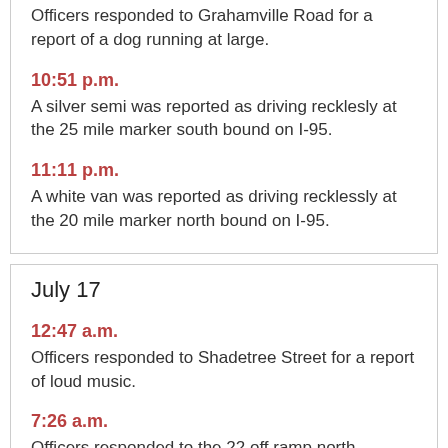Officers responded to Grahamville Road for a report of a dog running at large.
10:51 p.m.
A silver semi was reported as driving recklesly at the 25 mile marker south bound on I-95.
11:11 p.m.
A white van was reported as driving recklessly at the 20 mile marker north bound on I-95.
July 17
12:47 a.m.
Officers responded to Shadetree Street for a report of loud music.
7:26 a.m.
Officers responded to the 22 off ramp north